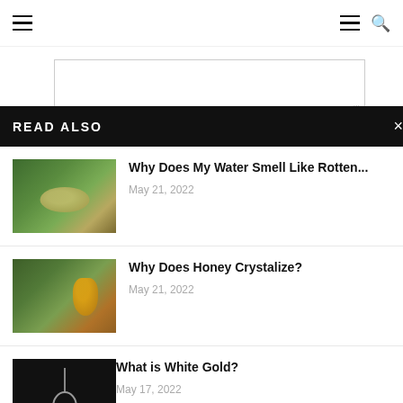Navigation header with hamburger menus and search icon
[Figure (screenshot): Form fields partially visible: textarea, Name* input, email input, website input]
READ ALSO
Why Does My Water Smell Like Rotten... May 21, 2022
Why Does Honey Crystalize? May 21, 2022
What is White Gold? May 17, 2022